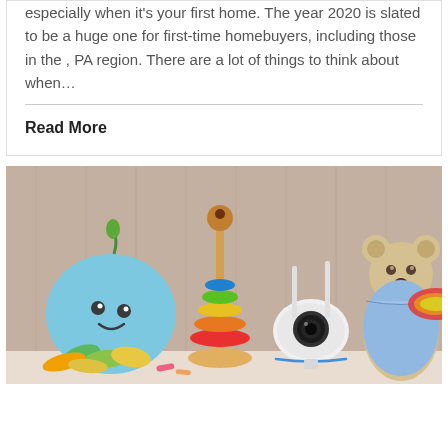especially when it's your first home. The year 2020 is slated to be a huge one for first-time homebuyers, including those in the , PA region. There are a lot of things to think about when…
Read More
[Figure (photo): A collection of children's toys on a shelf including a smiling blue plush octopus, a colorful stacking ring tower, a white security camera with two antennas, a rainbow-colored toy, and a blue teddy bear dressed in a light blue outfit.]